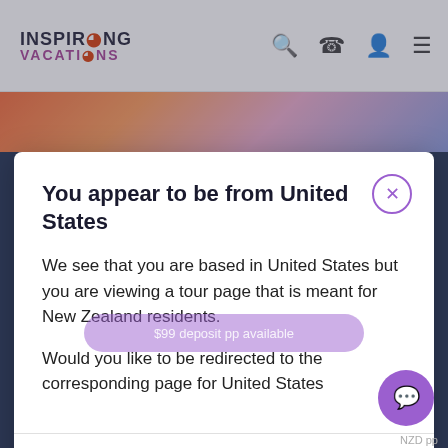INSPIRING VACATIONS
[Figure (screenshot): Website background with colorful tour image strip and dark navy footer area]
You appear to be from United States
We see that you are based in United States but you are viewing a tour page that is meant for New Zealand residents.
Would you like to be redirected to the corresponding page for United States
$99 deposit pp available
NZD pp